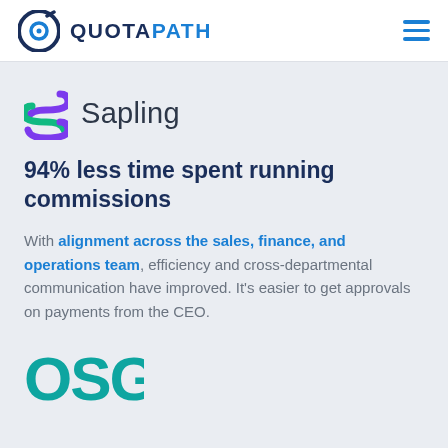QUOTAPATH
[Figure (logo): Sapling logo — colorful S-shaped wave icon in purple and green, next to the word Sapling in dark gray]
94% less time spent running commissions
With alignment across the sales, finance, and operations team, efficiency and cross-departmental communication have improved. It's easier to get approvals on payments from the CEO.
[Figure (logo): OSG logo — partial view of circular OSG lettering in teal/blue]